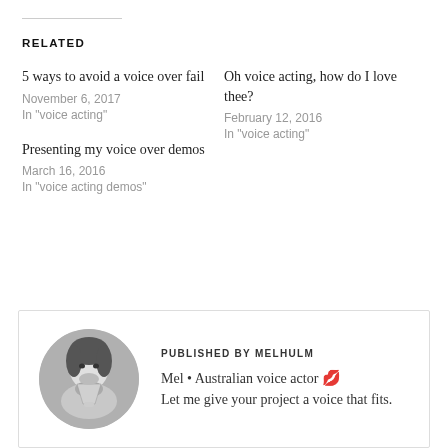RELATED
5 ways to avoid a voice over fail
November 6, 2017
In "voice acting"
Oh voice acting, how do I love thee?
February 12, 2016
In "voice acting"
Presenting my voice over demos
March 16, 2016
In "voice acting demos"
[Figure (photo): Circular black and white photo of a woman holding a funnel-shaped object near her mouth]
PUBLISHED BY MELHULM
Mel • Australian voice actor 💋 Let me give your project a voice that fits.